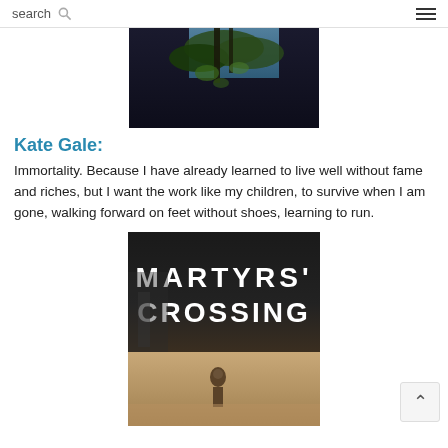search
[Figure (photo): A dark, upward-looking photo through tree canopy with blue sky visible]
Kate Gale:
Immortality. Because I have already learned to live well without fame and riches, but I want the work like my children, to survive when I am gone, walking forward on feet without shoes, learning to run.
[Figure (photo): Book cover of 'Martyrs' Crossing' showing large white text on dark background with a figure walking below]